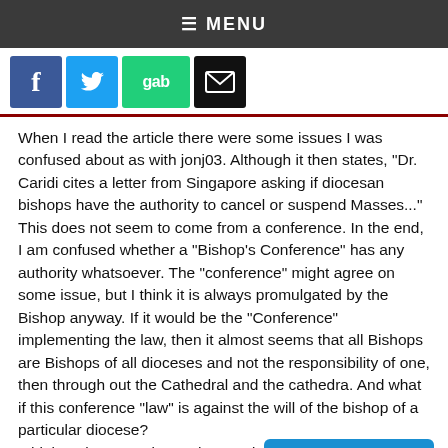≡ MENU
[Figure (other): Social sharing icons: Facebook, Twitter, Gab, Email]
When I read the article there were some issues I was confused about as with jonj03. Although it then states, "Dr. Caridi cites a letter from Singapore asking if diocesan bishops have the authority to cancel or suspend Masses..." This does not seem to come from a conference. In the end, I am confused whether a "Bishop's Conference" has any authority whatsoever. The "conference" might agree on some issue, but I think it is always promulgated by the Bishop anyway. If it would be the "Conference" implementing the law, then it almost seems that all Bishops are Bishops of all dioceses and not the responsibility of one, then through out the Cathedral and the cathedra. And what if this conference "law" is against the will of the bishop of a particular diocese?
I think I take exception to the "modern medicine" argument. It would seem that with the great mo[...] ents in medicine that we can treat and prev[...] s better